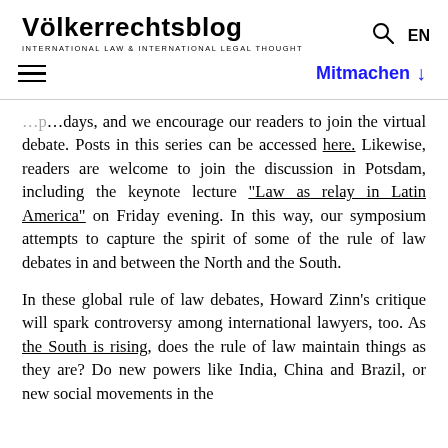Völkerrechtsblog — INTERNATIONAL LAW & INTERNATIONAL LEGAL THOUGHT
days, and we encourage our readers to join the virtual debate. Posts in this series can be accessed here. Likewise, readers are welcome to join the discussion in Potsdam, including the keynote lecture "Law as relay in Latin America" on Friday evening. In this way, our symposium attempts to capture the spirit of some of the rule of law debates in and between the North and the South.
In these global rule of law debates, Howard Zinn's critique will spark controversy among international lawyers, too. As the South is rising, does the rule of law maintain things as they are? Do new powers like India, China and Brazil, or new social movements in the